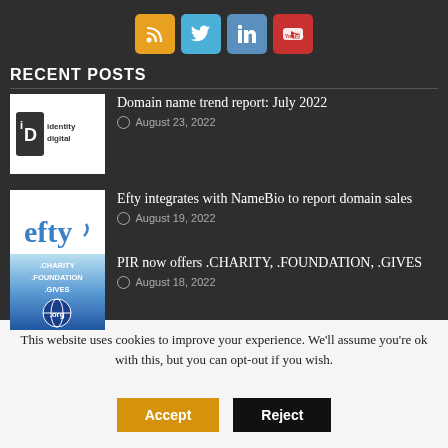[Figure (infographic): Row of four social media icon buttons: RSS (yellow/orange), Twitter (blue), LinkedIn (blue), YouTube (red)]
RECENT POSTS
[Figure (logo): Identity Digital logo: white background with 'iD identity digital' branding]
Domain name trend report: July 2022
© August 23, 2022
[Figure (logo): Efty logo: white background with blue 'efty' wordmark]
Efty integrates with NameBio to report domain sales
© August 19, 2022
[Figure (logo): PIR logo: blue gradient background with .CHARITY .FOUNDATION .GIVES text and .org globe]
PIR now offers .CHARITY, .FOUNDATION, .GIVES
© August 18, 2022
This website uses cookies to improve your experience. We'll assume you're ok with this, but you can opt-out if you wish.
Accept  Reject